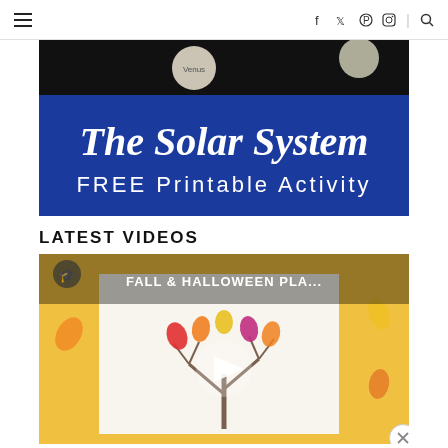Navigation bar with hamburger menu, social icons (Facebook, Twitter, Pinterest, Instagram), and search
[Figure (illustration): Solar System FREE Printable Activity banner image with blue background and white script/sans-serif text, with planets including Venus visible at top]
LATEST VIDEOS
[Figure (screenshot): Video thumbnail for 'FALL & HALLOWEEN PLA...' showing a painted fall tree with colorful leaves on yellow background, with a play button overlay]